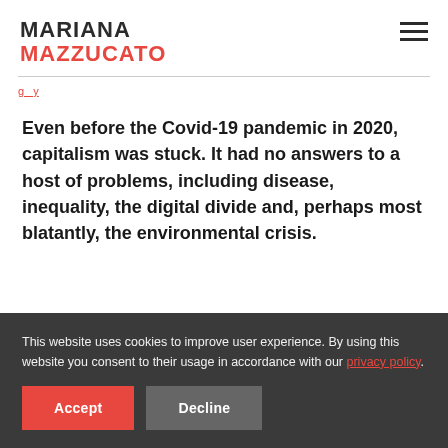MARIANA MAZZUCATO
Even before the Covid-19 pandemic in 2020, capitalism was stuck. It had no answers to a host of problems, including disease, inequality, the digital divide and, perhaps most blatantly, the environmental crisis.
This website uses cookies to improve user experience. By using this website you consent to their usage in accordance with our privacy policy.